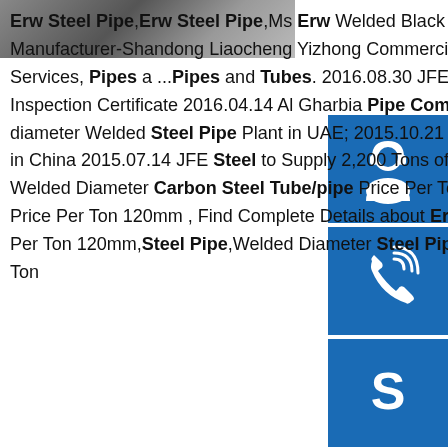[Figure (photo): Partial steel pipe product photo, top-left corner]
[Figure (infographic): Three blue sidebar icon buttons: headset/customer service, phone/call, Skype]
Erw Steel Pipe,Erw Steel Pipe,Ms Erw Welded Black Pipe,Iron Steel Pipe from Steel Pipes Supplier or Manufacturer-Shandong Liaocheng Yizhong Commercial Trade Co., Ltd.sp. Steel Corporation, Products and Services, Pipes a ...Pipes and Tubes. 2016.08.30 JFE Steel Launches System to Identify Fraudulent Inspection Certificate 2016.04.14 Al Gharbia Pipe Company Holds Groundbreaking Ceremony for Large-diameter Welded Steel Pipe Plant in UAE; 2015.10.21 Jiaxing JFE Steel Pipe Celebrates Production Startup in China 2015.07.14 JFE Steel to Supply 2,200 Tons of Line North Sea Gas Project World's ...sp.info Erw Welded Diameter Carbon Steel Tube/pipe Price Per Ton ...Erw Welded Diameter Carbon Steel Tube/pipe Price Per Ton 120mm , Find Complete Details about Erw Welded Diameter Carbon Steel Tube/pipe Price Per Ton 120mm,Steel Pipe,Welded Diameter Steel Pipe 120mm,Erw Welded Carbon Steel Tube Price Per Ton